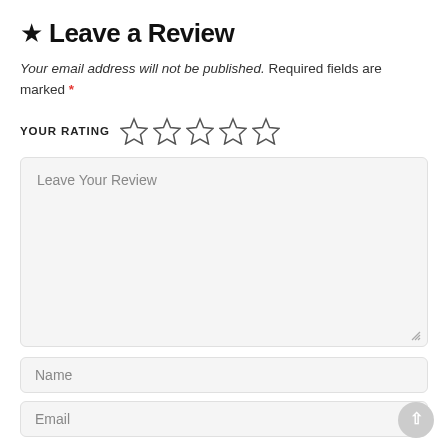★ Leave a Review
Your email address will not be published. Required fields are marked *
YOUR RATING ☆☆☆☆☆
[Figure (other): Large text area input field with placeholder text 'Leave Your Review' on a light grey background with rounded corners and a resize handle.]
Name
Email